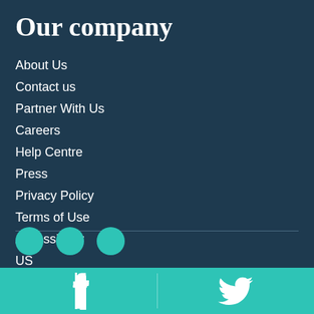Our company
About Us
Contact us
Partner With Us
Careers
Help Centre
Press
Privacy Policy
Terms of Use
Accessibility
US
[Figure (illustration): Social media icon circles (teal circles) and a horizontal divider line above them, followed by a teal bottom bar with Facebook and Twitter icons]